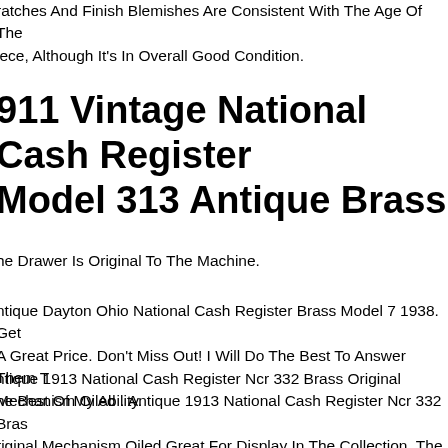ratches And Finish Blemishes Are Consistent With The Age Of The piece, Although It's In Overall Good Condition.
911 Vintage National Cash Register Model 313 Antique Brass
he Drawer Is Original To The Machine.
ntique Dayton Ohio National Cash Register Brass Model 7 1938. Get A Great Price. Don't Miss Out! I Will Do The Best To Answer Them To he Best Of My Ability.
ntique 1913 National Cash Register Ncr 332 Brass Original Mechanism Oiled . Antique 1913 National Cash Register Ncr 332 Brass riginal Mechanism Oiled Great For Display In The Collection. The ate On The Bottom Of The Drawer Is 1913. Push Any Key Down And he Drawer Pops Out. It Makes That Classic Ring Sound. The Pop Up umber Flags Work And Remain Bright And Clear. The Milk Glass She riginal And Shows Wear From The Years. It Has The Ornate Design